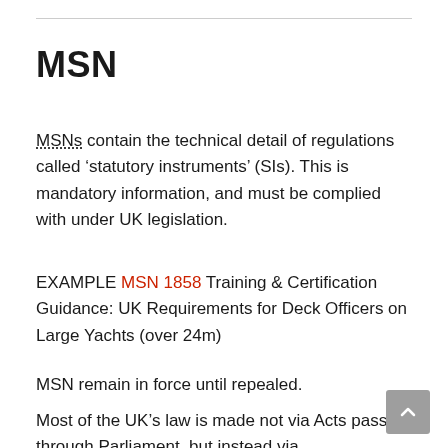MSN
MSNs contain the technical detail of regulations called ‘statutory instruments’ (SIs). This is mandatory information, and must be complied with under UK legislation.
EXAMPLE MSN 1858 Training & Certification Guidance: UK Requirements for Deck Officers on Large Yachts (over 24m)
MSN remain in force until repealed.
Most of the UK’s law is made not via Acts passed through Parliament  but instead via